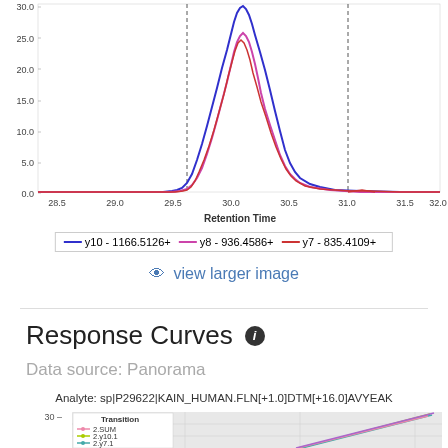[Figure (continuous-plot): Chromatogram showing intensity vs retention time (28.5 to 32.0) with three overlapping peaks around 30.0-30.5. Three curves: blue (y10), pink/magenta (y8), red (y7). Y-axis from 0.0 to 30.0. Two vertical dashed lines at approximately 29.8 and 31.2.]
y10 - 1166.5126+ | y8 - 936.4586+ | y7 - 835.4109+
view larger image
Response Curves
Data source: Panorama
Analyte: sp|P29622|KAIN_HUMAN.FLN[+1.0]DTM[+16.0]AVYEAK
[Figure (continuous-plot): Response curve chart (partial, cropped at bottom). Shows lines rising steeply in the right portion. Legend shows: Transition, 2.SUM (pink), 2.y10.1 (yellow-green), 2.y7.1 (teal), 2.y9.1 (light pink). Y-axis label shows 30 on left side. Grid background visible.]